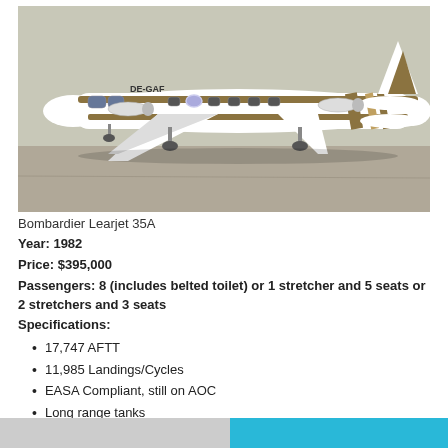[Figure (photo): Bombardier Learjet 35A aircraft (registration DE-GAF) with white and gold/brown stripe livery parked on tarmac]
Bombardier Learjet 35A
Year: 1982
Price: $395,000
Passengers: 8 (includes belted toilet) or 1 stretcher and 5 seats or 2 stretchers and 3 seats
Specifications:
17,747 AFTT
11,985 Landings/Cycles
EASA Compliant, still on AOC
Long range tanks
STC for medical equipment/stretcher
Avionics ADF: Dual Collins ADF-60A w/dual ANT-60A antenna
Altimeter: Aerosonic standby
Autopilot: J.E.T. FC-200 w/YD-202 yaw damper
Communication Radios: Dual Collins VHF-21C w/8.33 spacing and dual